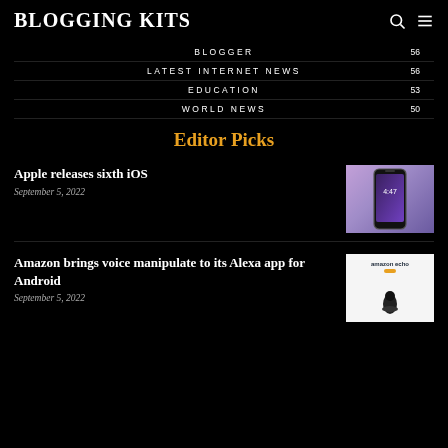BLOGGING KITS
BLOGGER 56
LATEST INTERNET NEWS 56
EDUCATION 53
WORLD NEWS 50
Editor Picks
Apple releases sixth iOS
September 5, 2022
[Figure (photo): Hand holding a smartphone showing a lock screen with time 4:47]
Amazon brings voice manipulate to its Alexa app for Android
September 5, 2022
[Figure (photo): Amazon Echo smart speaker device on white background with Amazon branding]